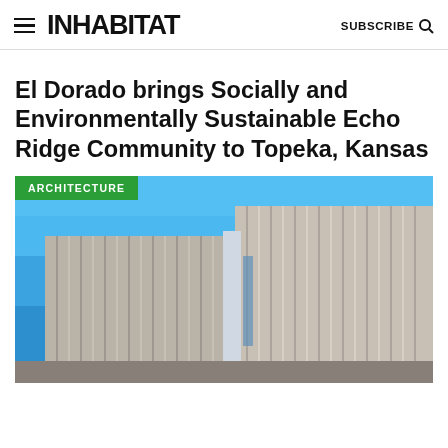INHABITAT  SUBSCRIBE
El Dorado brings Socially and Environmentally Sustainable Echo Ridge Community to Topeka, Kansas
[Figure (photo): Photograph of a modern building with vertical metal panel cladding in brown/gray tones against a bright blue sky. The building has a rectangular geometric form with corner windows. A green 'ARCHITECTURE' category label overlays the top-left of the image.]